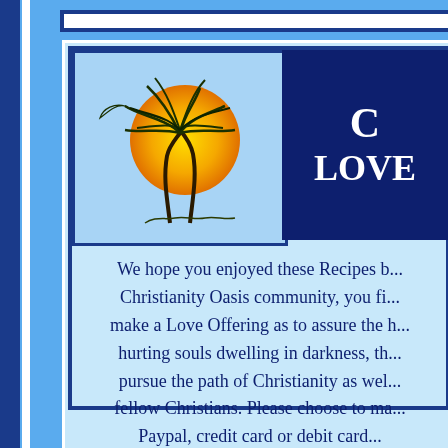[Figure (logo): Christianity Oasis logo: palm trees silhouetted against an orange/yellow sun circle]
C LOVE
We hope you enjoyed these Recipes b... Christianity Oasis community, you fi... make a Love Offering as to assure the h... hurting souls dwelling in darkness, th... pursue the path of Christianity as wel... fellow Christians. Please choose to ma... Paypal, credit card or debit card...